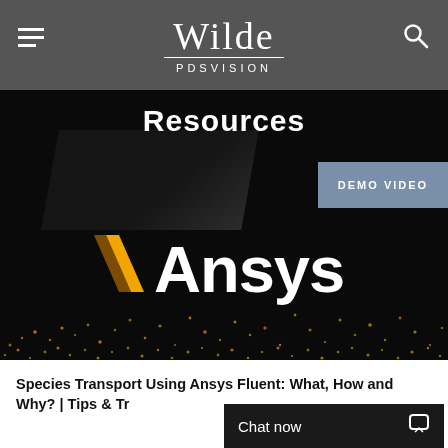Wilde PDSVISION
Resources
[Figure (screenshot): Ansys demo video thumbnail showing the Ansys logo (with golden chevron/arrow symbol) on a dark background with golden particle wave pattern. A 'DEMO VIDEO' badge appears in the upper right of the image area.]
Species Transport Using Ansys Fluent: What, How and Why? | Tips & Tr...
Chat now